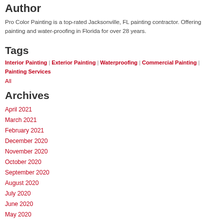Author
Pro Color Painting is a top-rated Jacksonville, FL painting contractor. Offering painting and water-proofing in Florida for over 28 years.
Tags
Interior Painting | Exterior Painting | Waterproofing | Commercial Painting | Painting Services
All
Archives
April 2021
March 2021
February 2021
December 2020
November 2020
October 2020
September 2020
August 2020
July 2020
June 2020
May 2020